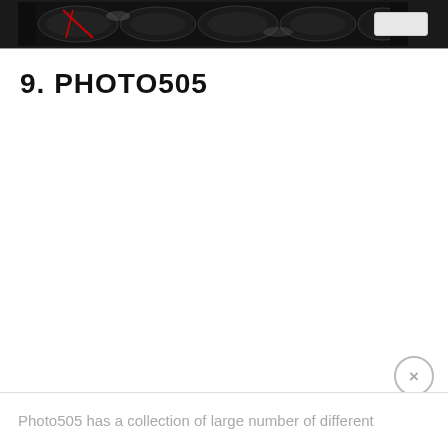[Figure (photo): Black and white artistic photo strip with red accent elements, shown at top of page]
9. PHOTO505
Photo505 has a collection of large number of different